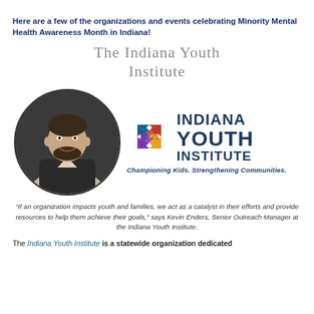Here are a few of the organizations and events celebrating Minority Mental Health Awareness Month in Indiana!
The Indiana Youth Institute
[Figure (photo): Circular headshot photo of a bearded man in a dark blazer, and the Indiana Youth Institute logo with colorful interlocking arrows and text 'INDIANA YOUTH INSTITUTE — Championing Kids. Strengthening Communities.']
"If an organization impacts youth and families, we act as a catalyst in their efforts and provide resources to help them achieve their goals," says Kevin Enders, Senior Outreach Manager at the Indiana Youth Institute.
The Indiana Youth Institute is a statewide organization dedicated